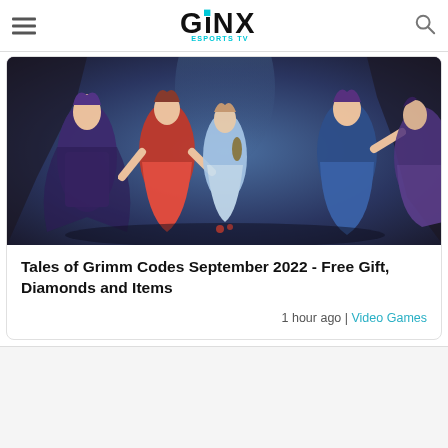GINX ESPORTS TV
[Figure (illustration): Anime-style illustration showing multiple female characters in fantasy/RPG attire in a dark cave or dungeon environment. Characters wear colorful dresses and outfits in red, blue, purple, and other hues.]
Tales of Grimm Codes September 2022 - Free Gift, Diamonds and Items
1 hour ago | Video Games